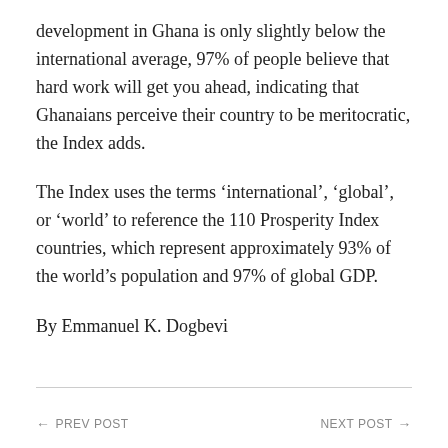development in Ghana is only slightly below the international average, 97% of people believe that hard work will get you ahead, indicating that Ghanaians perceive their country to be meritocratic, the Index adds.
The Index uses the terms ‘international’, ‘global’, or ‘world’ to reference the 110 Prosperity Index countries, which represent approximately 93% of the world’s population and 97% of global GDP.
By Emmanuel K. Dogbevi
← PREV POST    NEXT POST →